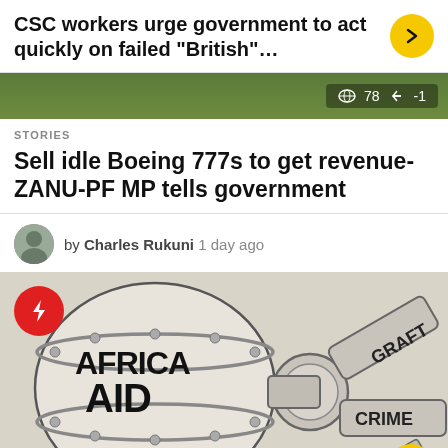CSC workers urge government to act quickly on failed “British”…
[Figure (photo): Green field/grass strip image used as article thumbnail with view count 78 and score -1]
STORIES
Sell idle Boeing 777s to get revenue- ZANU-PF MP tells government
by Charles Rukuni 1 day ago
[Figure (illustration): Political cartoon showing a large pipe/tank labeled AFRICA AID with pipes branching into GRAFT and CRIME labels, with a red lightning bolt badge overlay]